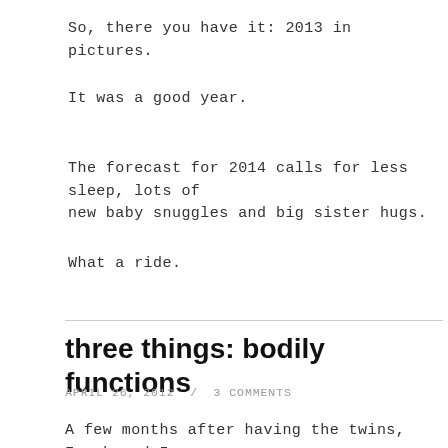So, there you have it: 2013 in pictures.
It was a good year.
The forecast for 2014 calls for less sleep, lots of new baby snuggles and big sister hugs.
What a ride.
three things: bodily functions
APRIL 26, 2012 / 3 COMMENTS
A few months after having the twins, Frank and I